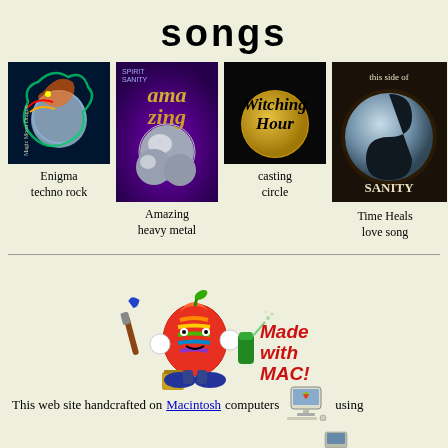songs
[Figure (photo): Album cover: Enigma - colorful dragon with magic moon, dark blue background]
Enigma
techno rock
[Figure (photo): Album cover: Amazing - metallic chrome letters on purple background]
Amazing
heavy metal
[Figure (photo): Album cover: Witching Hour - text on dark background with moon]
casting
circle
[Figure (photo): Album cover: This Side of Sanity - yin yang sphere with text]
Time Heals
love song
[Figure (illustration): Made with Mac - cartoon apple character with paintbrush and spray can]
This web site handcrafted on Macintosh computers using
[Figure (logo): Macintosh computer icon with rainbow Apple logo]